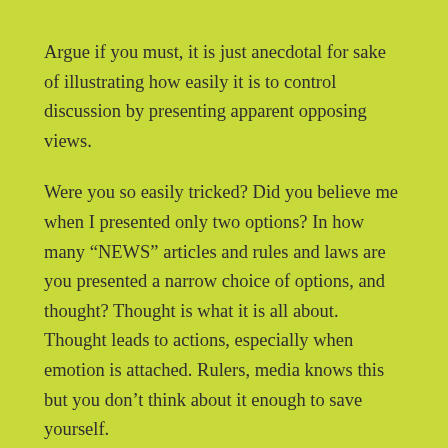Argue if you must, it is just anecdotal for sake of illustrating how easily it is to control discussion by presenting apparent opposing views.
Were you so easily tricked? Did you believe me when I presented only two options? In how many “NEWS” articles and rules and laws are you presented a narrow choice of options, and thought? Thought is what it is all about. Thought leads to actions, especially when emotion is attached. Rulers, media knows this but you don’t think about it enough to save yourself.
My swimming anecdote could be argued but the point is that those who try to limit your mental comprehension, your intellect, basically, do it to exploit you.